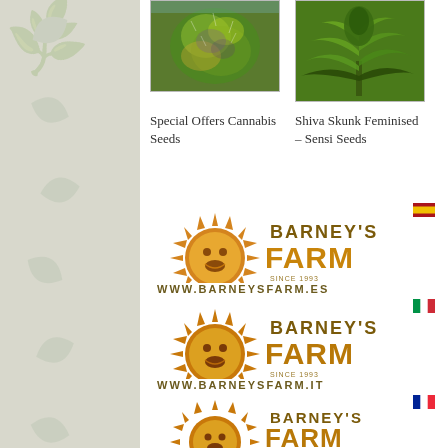[Figure (photo): Product image: cannabis plant bud close-up for Special Offers Cannabis Seeds]
[Figure (photo): Product image: cannabis plant for Shiva Skunk Feminised – Sensi Seeds]
Special Offers Cannabis Seeds
Shiva Skunk Feminised – Sensi Seeds
[Figure (logo): Barney's Farm logo with Spanish flag and URL www.barneysfarm.es]
[Figure (logo): Barney's Farm logo with Italian flag and URL www.barneysfarm.it]
[Figure (logo): Barney's Farm logo with French flag (partial)]